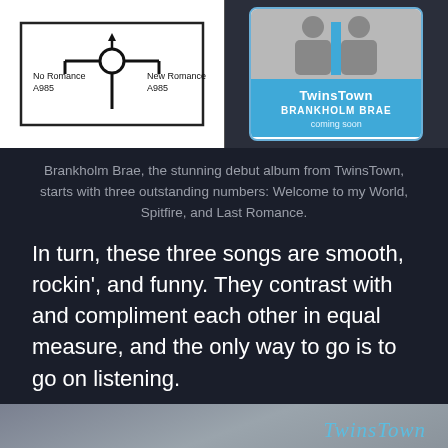[Figure (illustration): Two images side by side: left is a road junction sign showing 'No Romance A985' on the left branch and 'New Romance A985' on the right branch with a circular junction symbol; right is a TwinsTown album card with silhouetted figures at top and blue panel reading 'TwinsTown BRANKHOLM BRAE coming soon'.]
Brankholm Brae, the stunning debut album from TwinsTown, starts with three outstanding numbers: Welcome to my World, Spitfire, and Last Romance.
In turn, these three songs are smooth, rockin', and funny. They contrast with and compliment each other in equal measure, and the only way to go is to go on listening.
[Figure (illustration): Album cover for TwinsTown 'Brankholm Brae' showing two stylized flaming bird/phoenix figures on a grey mottled background, with 'TwinsTown' in blue italic script and 'BRANKHOLM BRAE' in orange bold text at the top right.]